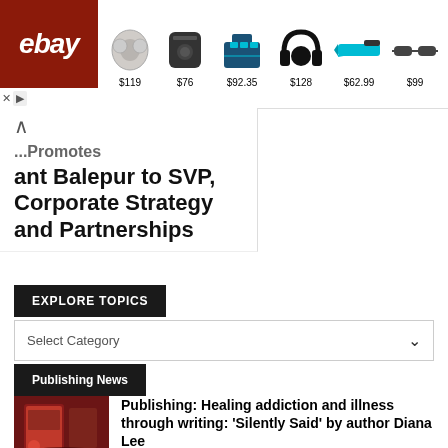[Figure (screenshot): eBay advertisement banner showing earbuds ($119), Bose speaker ($76), power tools ($92.35), Sony headphones ($128), power tool ($62.99), and sunglasses ($99)]
...Promotes ...ant Balepur to SVP, Corporate Strategy and Partnerships
EXPLORE TOPICS
Select Category
Publishing News
Publishing: Healing addiction and illness through writing: 'Silently Said' by author Diana Lee